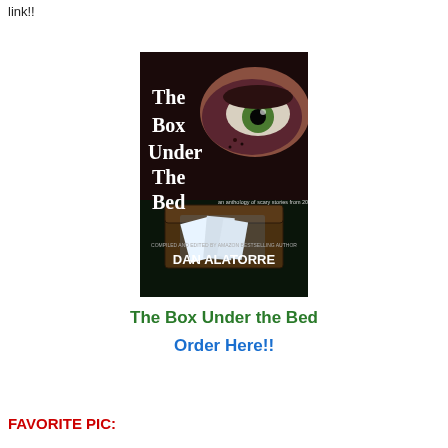link!!
[Figure (photo): Book cover of 'The Box Under the Bed' — an anthology of scary stories from 20 authors, compiled and edited by Amazon bestselling author Dan Alatorre. Cover shows a close-up eye with dark makeup and a wooden box below.]
The Box Under the Bed
Order Here!!
FAVORITE PIC: